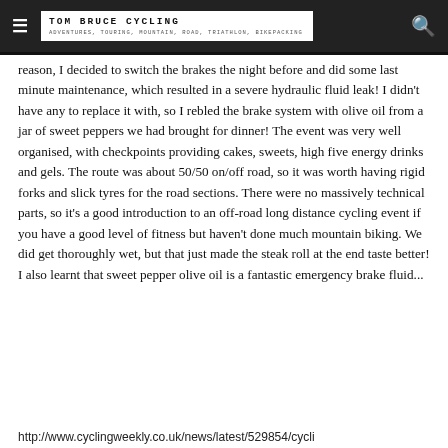TOM BRUCE CYCLING — ADVENTURES, TOURING, MOUNTAIN, ROAD, TRIATHLON, BIKEPACKING
reason, I decided to switch the brakes the night before and did some last minute maintenance, which resulted in a severe hydraulic fluid leak! I didn't have any to replace it with, so I rebled the brake system with olive oil from a jar of sweet peppers we had brought for dinner! The event was very well organised, with checkpoints providing cakes, sweets, high five energy drinks and gels. The route was about 50/50 on/off road, so it was worth having rigid forks and slick tyres for the road sections. There were no massively technical parts, so it's a good introduction to an off-road long distance cycling event if you have a good level of fitness but haven't done much mountain biking. We did get thoroughly wet, but that just made the steak roll at the end taste better! I also learnt that sweet pepper olive oil is a fantastic emergency brake fluid...
http://www.cyclingweekly.co.uk/news/latest/529854/cycli